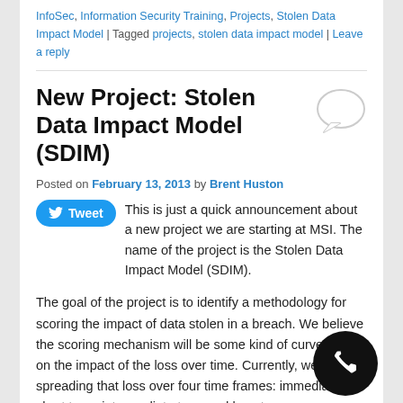InfoSec, Information Security Training, Projects, Stolen Data Impact Model | Tagged projects, stolen data impact model | Leave a reply
New Project: Stolen Data Impact Model (SDIM)
Posted on February 13, 2013 by Brent Huston
This is just a quick announcement about a new project we are starting at MSI. The name of the project is the Stolen Data Impact Model (SDIM).
The goal of the project is to identify a methodology for scoring the impact of data stolen in a breach. We believe the scoring mechanism will be some kind of curve, based on the impact of the loss over time. Currently, we are spreading that loss over four time frames: immediate, short term, intermediate term and long term.